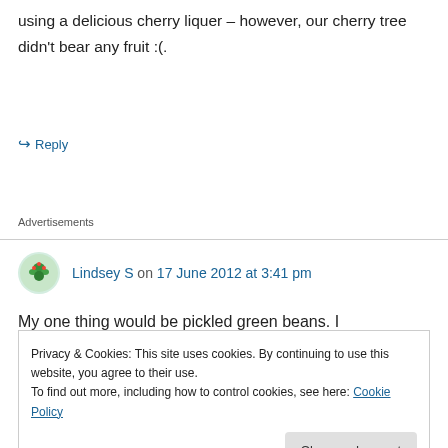using a delicious cherry liquer – however, our cherry tree didn't bear any fruit :(.
↪ Reply
Advertisements
Lindsey S on 17 June 2012 at 3:41 pm
My one thing would be pickled green beans. I
Privacy & Cookies: This site uses cookies. By continuing to use this website, you agree to their use.
To find out more, including how to control cookies, see here: Cookie Policy
Close and accept